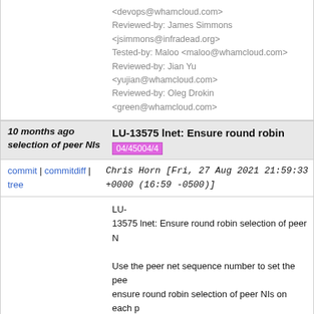<devops@whamcloud.com>
Reviewed-by: James Simmons <jsimmons@infradead.org>
Tested-by: Maloo <maloo@whamcloud.com>
Reviewed-by: Jian Yu <yujian@whamcloud.com>
Reviewed-by: Oleg Drokin <green@whamcloud.com>
10 months ago selection of peer NIs | LU-13575 lnet: Ensure round robin selection of peer NIs 04/45004/4
commit | commitdiff | tree   Chris Horn [Fri, 27 Aug 2021 21:59:33 +0000 (16:59 -0500)]
LU-13575 lnet: Ensure round robin selection of peer NIs

Use the peer net sequence number to set the peer NI and ensure round robin selection of peer NIs on each p

HPE-bug-id: LUS-10349
Test-Parameters: trivial
Signed-off-by: Chris Horn <chris.horn@hpe.com>
Change-Id: I1fa14ad675ead4ae2c5b1d4edad250caa4498d
Reviewed-on: https://review.whamcloud.com/45004
Reviewed-by: Serguei Smirnov <ssmirnov@whamcloud.com>